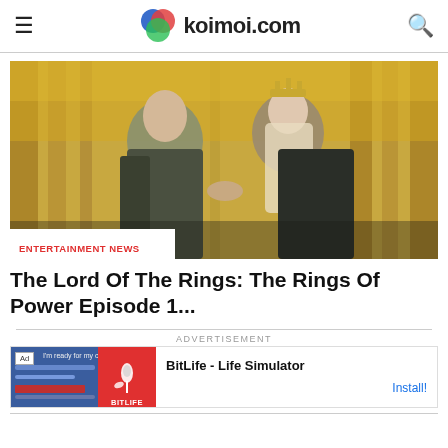koimoi.com
[Figure (photo): Two characters from The Lord of the Rings: The Rings of Power, a man and a woman with a crown, holding hands in a golden forest setting. Badge reading ENTERTAINMENT NEWS overlaid at bottom left.]
The Lord Of The Rings: The Rings Of Power Episode 1...
ADVERTISEMENT
[Figure (other): Advertisement for BitLife - Life Simulator app with Install button]